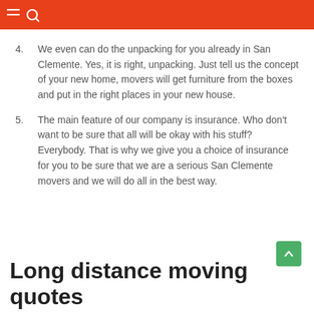4. We even can do the unpacking for you already in San Clemente. Yes, it is right, unpacking. Just tell us the concept of your new home, movers will get furniture from the boxes and put in the right places in your new house.
5. The main feature of our company is insurance. Who don't want to be sure that all will be okay with his stuff? Everybody. That is why we give you a choice of insurance for you to be sure that we are a serious San Clemente movers and we will do all in the best way.
Long distance moving quotes